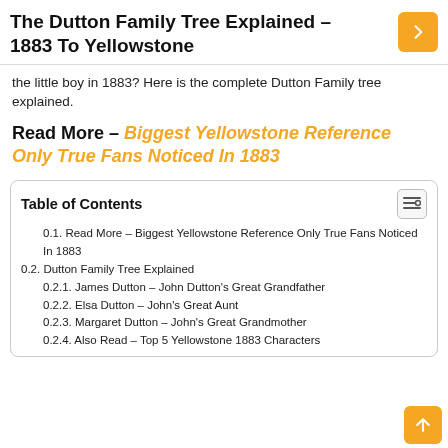The Dutton Family Tree Explained – 1883 To Yellowstone
the little boy in 1883? Here is the complete Dutton Family tree explained.
Read More – Biggest Yellowstone Reference Only True Fans Noticed In 1883
| Table of Contents |
| --- |
| 0.1. Read More – Biggest Yellowstone Reference Only True Fans Noticed In 1883 |
| 0.2. Dutton Family Tree Explained |
| 0.2.1. James Dutton – John Dutton's Great Grandfather |
| 0.2.2. Elsa Dutton – John's Great Aunt |
| 0.2.3. Margaret Dutton – John's Great Grandmother |
| 0.2.4. Also Read – Top 5 Yellowstone 1883 Characters |